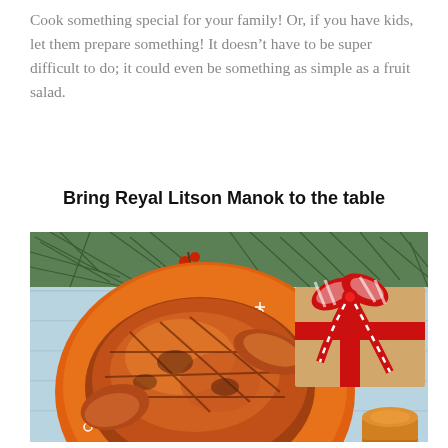Cook something special for your family! Or, if you have kids, let them prepare something! It doesn't have to be super difficult to do; it could even be something as simple as a fruit salad.
Bring Reyal Litson Manok to the table
[Figure (photo): A Christmas-themed flat lay photo showing a roasted chicken (litson manok) on an orange plate, garnished with white circle decorations, placed on a light blue wooden surface. Pine branches with red berries are visible at the top. A gift box wrapped in brown paper with red and white striped ribbon is on the right side.]